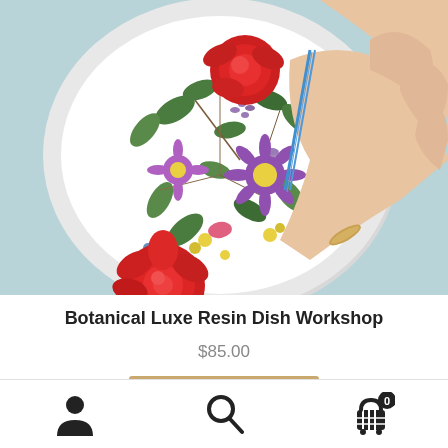[Figure (photo): Person's hand using tweezers to arrange colorful pressed flowers and leaves on a white ceramic dish. Flowers include red roses, purple daisies, yellow wildflowers, and green leaves arranged decoratively on a round white plate.]
Botanical Luxe Resin Dish Workshop
$85.00
[Figure (other): Tan/gold colored Add to Cart button, partially visible at bottom of product section]
[Figure (other): Bottom navigation bar with three icons: user/account icon on the left, search/magnifying glass icon in the center, and shopping cart icon with badge showing 0 on the right]